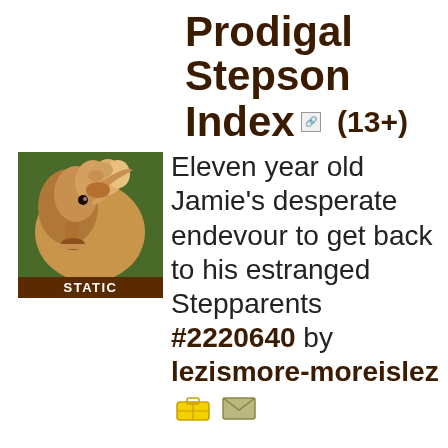Prodigal Stepson Index (13+)
[Figure (photo): A dog looking upward, thumbnail image with brown background label reading STATIC]
Eleven year old Jamie's desperate endevour to get back to his estranged Stepparents #2220640 by lezismore-moreislez